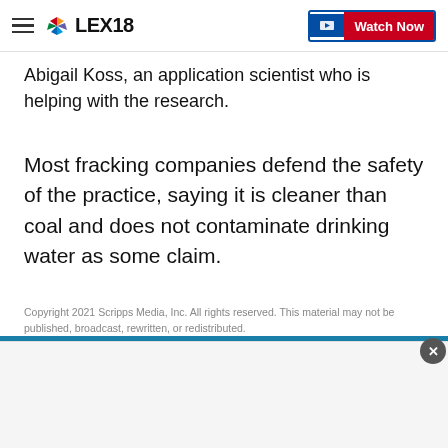LEX18 | Watch Now
Abigail Koss, an application scientist who is helping with the research.
Most fracking companies defend the safety of the practice, saying it is cleaner than coal and does not contaminate drinking water as some claim.
Copyright 2021 Scripps Media, Inc. All rights reserved. This material may not be published, broadcast, rewritten, or redistributed.
Report a typo
[Figure (other): Advertisement banner with teal top border and close button]